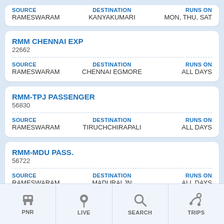| SOURCE | DESTINATION | RUNS ON |
| --- | --- | --- |
| RAMESWARAM | KANYAKUMARI | MON, THU, SAT |
RMM CHENNAI EXP
22662
| SOURCE | DESTINATION | RUNS ON |
| --- | --- | --- |
| RAMESWARAM | CHENNAI EGMORE | ALL DAYS |
RMM-TPJ PASSENGER
56830
| SOURCE | DESTINATION | RUNS ON |
| --- | --- | --- |
| RAMESWARAM | TIRUCHCHIRAPALI | ALL DAYS |
RMM-MDU PASS.
56722
| SOURCE | DESTINATION | RUNS ON |
| --- | --- | --- |
| RAMESWARAM | MADURAI JN | ALL DAYS |
PNR   LIVE   SEARCH   TRIPS